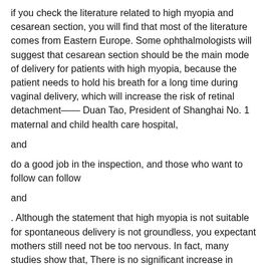if you check the literature related to high myopia and cesarean section, you will find that most of the literature comes from Eastern Europe. Some ophthalmologists will suggest that cesarean section should be the main mode of delivery for patients with high myopia, because the patient needs to hold his breath for a long time during vaginal delivery, which will increase the risk of retinal detachment—— Duan Tao, President of Shanghai No. 1 maternal and child health care hospital,
and
do a good job in the inspection, and those who want to follow can follow
and
. Although the statement that high myopia is not suitable for spontaneous delivery is not groundless, you expectant mothers still need not be too nervous. In fact, many studies show that, There is no significant increase in ocular complications (such as retinal detachment, which is most feared) caused by spontaneous delivery in pregnant women with high myopia compared with non